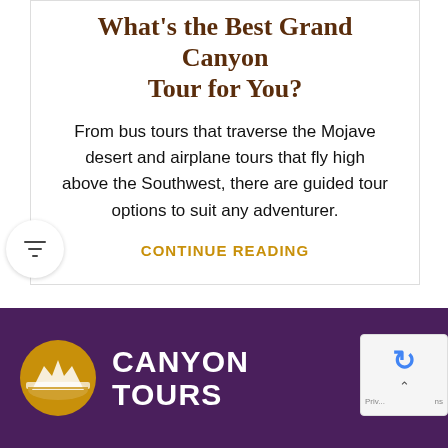What's the Best Grand Canyon Tour for You?
From bus tours that traverse the Mojave desert and airplane tours that fly high above the Southwest, there are guided tour options to suit any adventurer.
CONTINUE READING
[Figure (logo): Canyon Tours logo: gold circle with a stylized mesa/canyon silhouette and white text 'CANYON TOURS' on purple background]